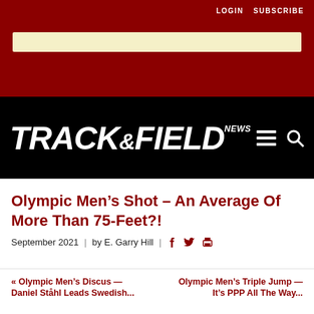LOGIN  SUBSCRIBE
[Figure (logo): Track & Field News logo in white italic bold text on black background with hamburger menu and search icons]
Olympic Men’s Shot – An Average Of More Than 75-Feet?!
September 2021  |  by E. Garry Hill  | [Facebook icon] [Twitter icon] [Print icon]
« Olympic Men’s Discus — Daniel Ståhl Leads Swedish...
Olympic Men’s Triple Jump — It’s PPP All The Way...